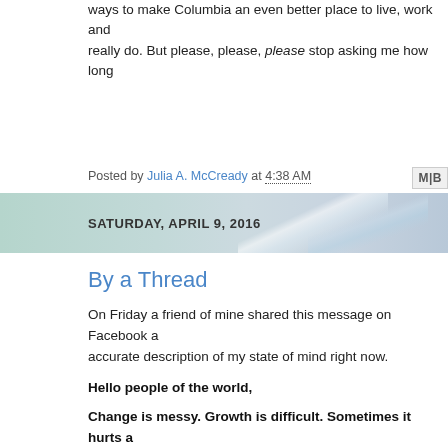ways to make Columbia an even better place to live, work and really do. But please, please, please stop asking me how long
Posted by Julia A. McCready at 4:38 AM
SATURDAY, APRIL 9, 2016
By a Thread
On Friday a friend of mine shared this message on Facebook a accurate description of my state of mind right now.
Hello people of the world,
Change is messy. Growth is difficult. Sometimes it hurts a alone in it. It is all part of the journey and if we stick with it sometimes tripping down that path - I am certain we will fi goodness.